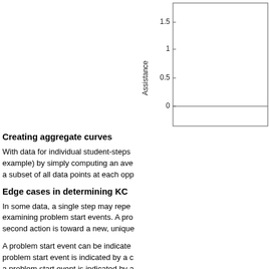[Figure (continuous-plot): Partial view of a line chart showing 'Assistance' on the y-axis with values 0, 0.5, 1, 1.5 visible. The chart is cropped at the right and bottom edges.]
Creating aggregate curves
With data for individual student-steps example) by simply computing an ave a subset of all data points at each opp
Edge cases in determining KC
In some data, a single step may repe examining problem start events. A pro second action is toward a new, unique
A problem start event can be indicate problem start event is indicated by a c a problem start event is indicated by a